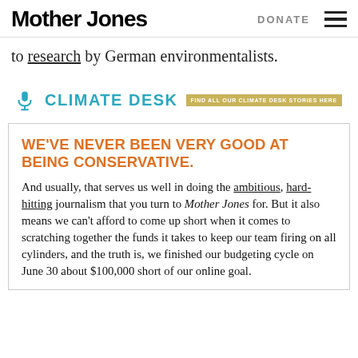Mother Jones  DONATE
to research by German environmentalists.
[Figure (logo): Climate Desk logo with microphone icon and teal wordmark, followed by a gold badge reading 'FIND ALL OUR CLIMATE DESK STORIES HERE']
WE'VE NEVER BEEN VERY GOOD AT BEING CONSERVATIVE.
And usually, that serves us well in doing the ambitious, hard-hitting journalism that you turn to Mother Jones for. But it also means we can't afford to come up short when it comes to scratching together the funds it takes to keep our team firing on all cylinders, and the truth is, we finished our budgeting cycle on June 30 about $100,000 short of our online goal.